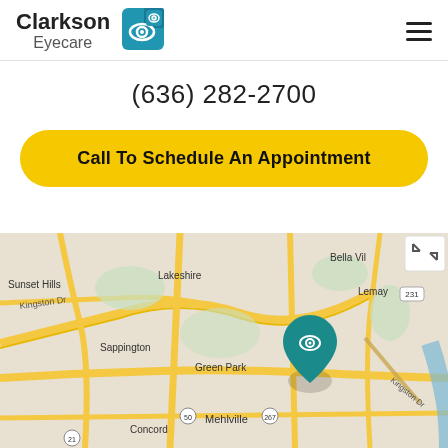[Figure (logo): Clarkson Eyecare logo with eye icon]
(636) 282-2700
Call To Schedule An Appointment
[Figure (map): Google Maps screenshot showing Green Park, Mehlville, Sappington, Lakeshire, Sunset Hills, Bella Villa, Lemay areas with a teal eye-shaped location pin marker]